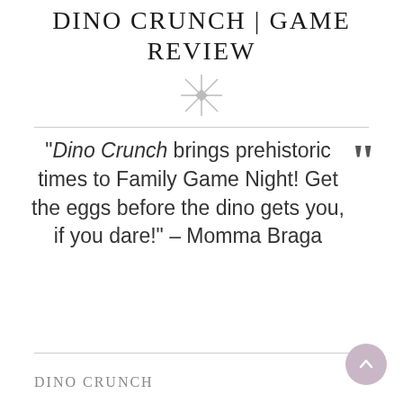Dino Crunch | Game Review
[Figure (illustration): Decorative ornament / asterism symbol in grey]
"Dino Crunch brings prehistoric times to Family Game Night! Get the eggs before the dino gets you, if you dare!" – Momma Braga
Dino Crunch